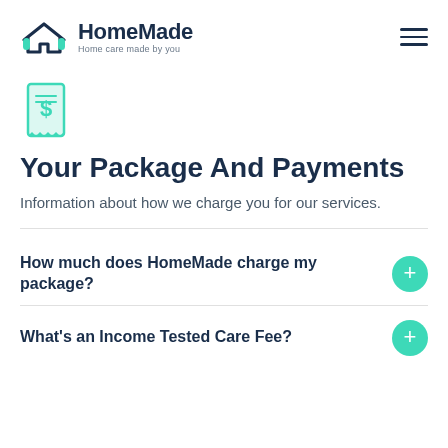HomeMade — Home care made by you
[Figure (illustration): Receipt/money icon with a dollar sign, teal/green color]
Your Package And Payments
Information about how we charge you for our services.
How much does HomeMade charge my package?
What's an Income Tested Care Fee?